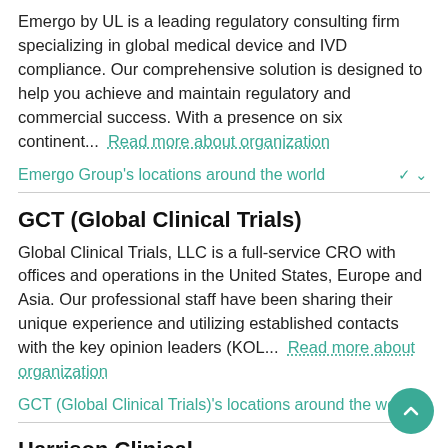Emergo by UL is a leading regulatory consulting firm specializing in global medical device and IVD compliance. Our comprehensive solution is designed to help you achieve and maintain regulatory and commercial success. With a presence on six continent...  Read more about organization
Emergo Group's locations around the world
GCT (Global Clinical Trials)
Global Clinical Trials, LLC is a full-service CRO with offices and operations in the United States, Europe and Asia. Our professional staff have been sharing their unique experience and utilizing established contacts with the key opinion leaders (KOL...  Read more about organization
GCT (Global Clinical Trials)'s locations around the world
Harrison Clinical
Harrison Clinical Research is an international CRO with